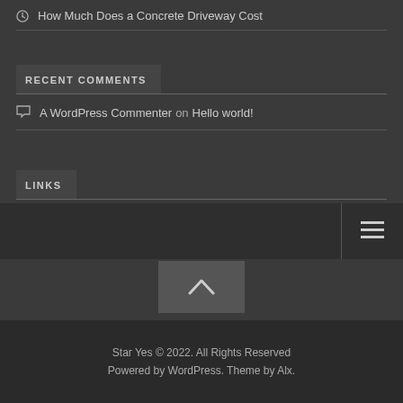How Much Does a Concrete Driveway Cost
RECENT COMMENTS
A WordPress Commenter on Hello world!
LINKS
Star Yes © 2022. All Rights Reserved Powered by WordPress. Theme by Alx.